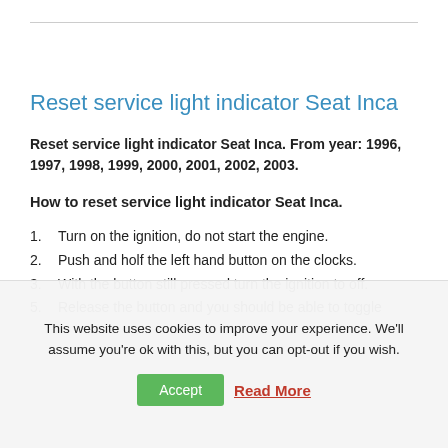Reset service light indicator Seat Inca
Reset service light indicator Seat Inca. From year: 1996, 1997, 1998, 1999, 2000, 2001, 2002, 2003.
How to reset service light indicator Seat Inca.
1. Turn on the ignition, do not start the engine.
2. Push and holf the left hand button on the clocks.
3. With the button still pressed turn the ignition to off.
5. Release the button and you should be able to toggle
This website uses cookies to improve your experience. We'll assume you're ok with this, but you can opt-out if you wish.
Accept  Read More